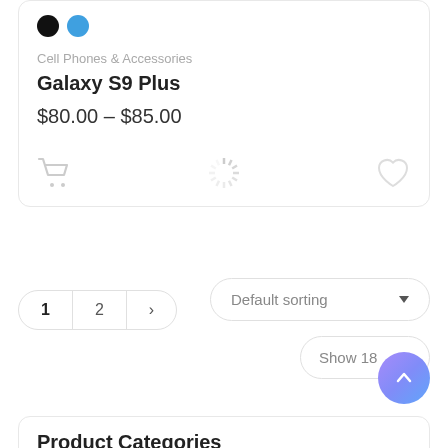[Figure (screenshot): Product card showing color swatches (black and blue dots), category, product name, price range, cart icon, loading spinner, and heart icon]
Cell Phones & Accessories
Galaxy S9 Plus
$80.00 – $85.00
1  2  >
Default sorting
Show 18
Product Categories